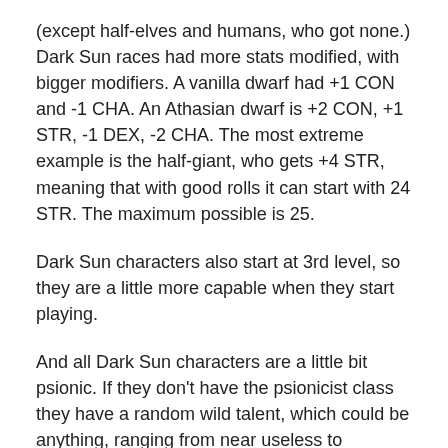(except half-elves and humans, who got none.) Dark Sun races had more stats modified, with bigger modifiers. A vanilla dwarf had +1 CON and -1 CHA. An Athasian dwarf is +2 CON, +1 STR, -1 DEX, -2 CHA. The most extreme example is the half-giant, who gets +4 STR, meaning that with good rolls it can start with 24 STR. The maximum possible is 25.
Dark Sun characters also start at 3rd level, so they are a little more capable when they start playing.
And all Dark Sun characters are a little bit psionic. If they don't have the psionicist class they have a random wild talent, which could be anything, ranging from near useless to amazingly useful. Normally the chance for a wild talent is around 1%, if you play with the Complete